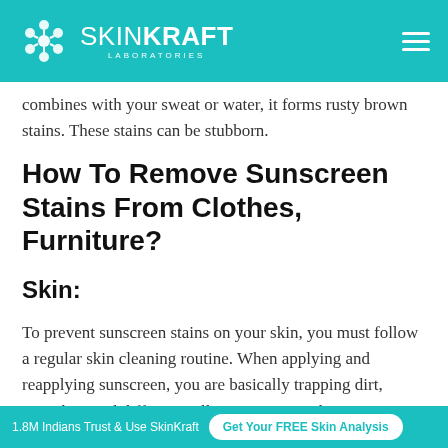SkinKraft Laboratories
combines with your sweat or water, it forms rusty brown stains. These stains can be stubborn.
How To Remove Sunscreen Stains From Clothes, Furniture?
Skin:
To prevent sunscreen stains on your skin, you must follow a regular skin cleaning routine. When applying and reapplying sunscreen, you are basically trapping dirt, microbes, and different pollutants on your skin.
1.8M Indians Trust & Use SkinKraft  Get Your FREE Skin Analysis